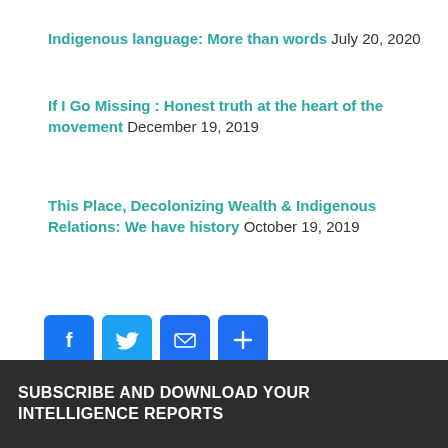Indigenous language: More than words July 20, 2020
If I Go Missing : Honest truth at the heart of the movement December 19, 2019
This Place, Decolonizing Wealth & Indigenous Relations: We have history October 19, 2019
[Figure (other): Social sharing buttons: Facebook, Twitter, Email, Share (plus icon)]
Filed Under: Headlines
SUBSCRIBE AND DOWNLOAD YOUR INTELLIGENCE REPORTS